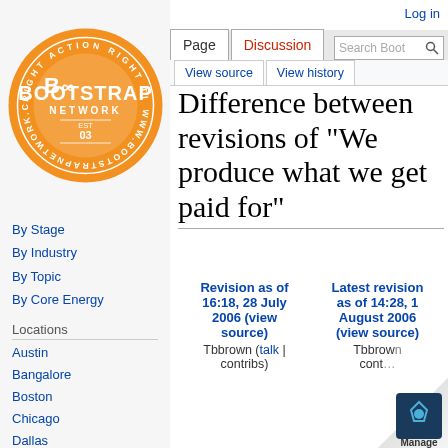[Figure (logo): Bootstrap Network circular orange logo with text 'RIGHT ACTION RIGHT TIME' around the border and 'BOOTSTRAP NETWORK' in center, EST 03, www.bootstrapnetwork.com]
By Stage
By Industry
By Topic
By Core Energy
Locations
Austin
Bangalore
Boston
Chicago
Dallas
Houston
Hyderabad
Los Angeles
Log in
Difference between revisions of "We produce what we get paid for"
| Revision as of 16:18, 28 July 2006 (view source) | Latest revision as of 14:28, 1 August 2006 (view source) |
| --- | --- |
| Tbbrown (talk | contribs) | Tbbrown (... cont...) |